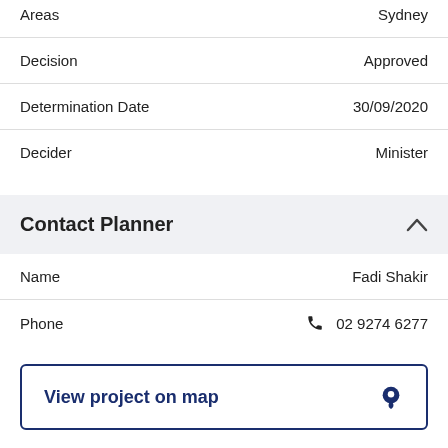| Field | Value |
| --- | --- |
| Areas | Sydney |
| Decision | Approved |
| Determination Date | 30/09/2020 |
| Decider | Minister |
Contact Planner
| Field | Value |
| --- | --- |
| Name | Fadi Shakir |
| Phone | 02 9274 6277 |
View project on map